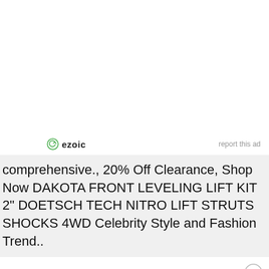[Figure (logo): Ezoic logo with green circular arrow icon and bold 'ezoic' text, with 'report this ad' link to the right]
comprehensive., 20% Off Clearance, Shop Now DAKOTA FRONT LEVELING LIFT KIT 2" DOETSCH TECH NITRO LIFT STRUTS SHOCKS 4WD Celebrity Style and Fashion Trend..